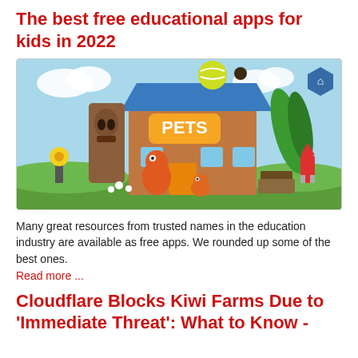The best free educational apps for kids in 2022
[Figure (illustration): Colorful cartoon illustration of a pet shop building with animated characters including an orange dragon, tiki mask, tennis ball, yellow flower, rocket, and tropical plants. The building has a sign reading 'PETS' and a hexagonal home icon badge in the top right corner.]
Many great resources from trusted names in the education industry are available as free apps. We rounded up some of the best ones.
Read more ...
Cloudflare Blocks Kiwi Farms Due to 'Immediate Threat': What to Know -